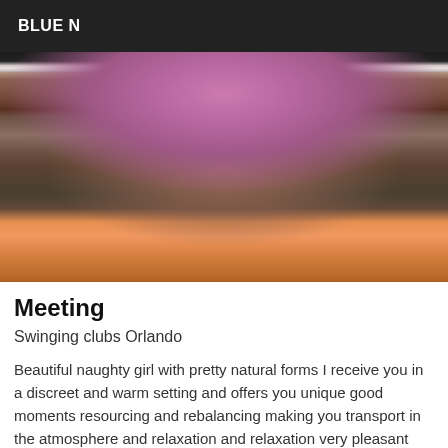BLUE N
[Figure (photo): Photo of a woman in a pink bra, torso visible, arms at sides, wearing bracelets, indoor setting with orange chair visible in background]
Meeting
Swinging clubs Orlando
Beautiful naughty girl with pretty natural forms I receive you in a discreet and warm setting and offers you unique good moments resourcing and rebalancing making you transport in the atmosphere and relaxation and relaxation very pleasant escape do not hesitate to call me